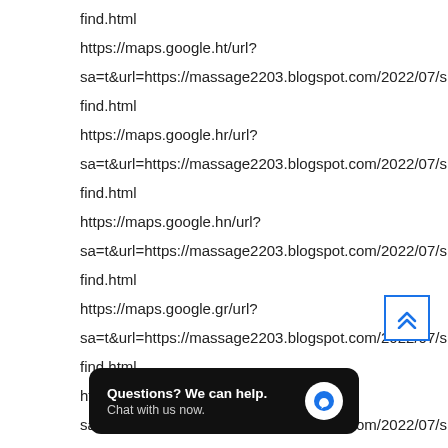find.html
https://maps.google.ht/url?
sa=t&url=https://massage2203.blogspot.com/2022/07/s
find.html
https://maps.google.hr/url?
sa=t&url=https://massage2203.blogspot.com/2022/07/s
find.html
https://maps.google.hn/url?
sa=t&url=https://massage2203.blogspot.com/2022/07/s
find.html
https://maps.google.gr/url?
sa=t&url=https://massage2203.blogspot.com/2022/07/s
find.html
https://maps.google.gm/url?
sa=t&url=https://massage2203.blogspot.com/2022/07/s
find.htm
https://m
sa=t&url=https://massage2203.blogspot.com/2022/07/s